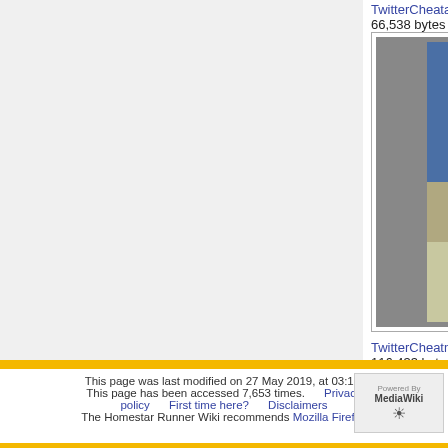TwitterCheatar.jpg
66,538 bytes
TwitterCheatbot.jpg
80,643 bytes
[Figure (photo): Photo of a yellow spray can (aerosol) with dark label, sitting on a surface with blue objects in background]
TwitterCheatmusk.jpg
116,433 bytes
[Figure (photo): Partial image of a red and yellow box/ruler product (Cheets) on teal background]
TwitterCheets.jpg
72,303 bytes
(previous 200) (next 200)
Categories: Twitter | HRWiki images by type
This page was last modified on 27 May 2019, at 03:17.
This page has been accessed 7,653 times.
Privacy policy   First time here?   Disclaimers
The Homestar Runner Wiki recommends Mozilla Firefox